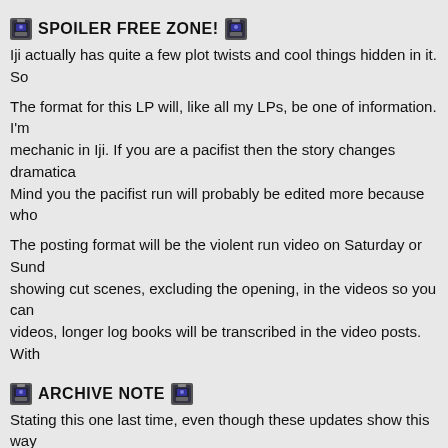🚨 SPOILER FREE ZONE! 🚨
Iji actually has quite a few plot twists and cool things hidden in it. So
The format for this LP will, like all my LPs, be one of information. I'm mechanic in Iji. If you are a pacifist then the story changes dramatica Mind you the pacifist run will probably be edited more because who
The posting format will be the violent run video on Saturday or Sund showing cut scenes, excluding the opening, in the videos so you can videos, longer log books will be transcribed in the video posts. With
🚨 ARCHIVE NOTE 🚨
Stating this one last time, even though these updates show this way You can watch the Violent all at once and then the Pacifist all at onc I did the LP. Also, of course, the Secrets video contains many spoile
Violent Run
[Figure (screenshot): Video thumbnail showing a white silhouette character on a black background]